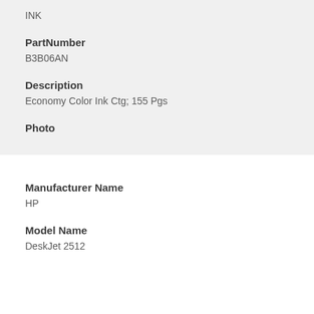INK
PartNumber
B3B06AN
Description
Economy Color Ink Ctg; 155 Pgs
Photo
Manufacturer Name
HP
Model Name
DeskJet 2512